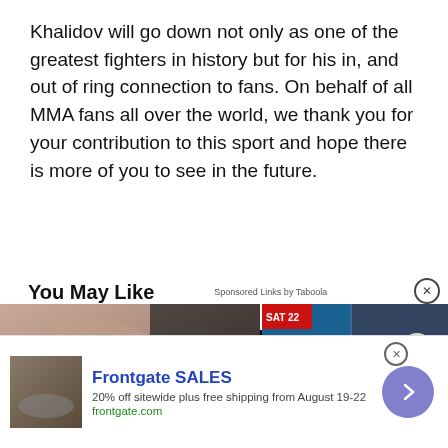Khalidov will go down not only as one of the greatest fighters in history but for his in, and out of ring connection to fans. On behalf of all MMA fans all over the world, we thank you for your contribution to this sport and hope there is more of you to see in the future.
Comment on this article
Give us feedback
You May Like
[Figure (screenshot): Thumbnail image of wrinkled skin texture]
[Figure (screenshot): Video overlay: FAMILY AFFAIR - Muhammad Ali's grandson gets ready for San Diego bout]
[Figure (advertisement): Frontgate SALES - 20% off sitewide plus free shipping from August 19-22, frontgate.com]